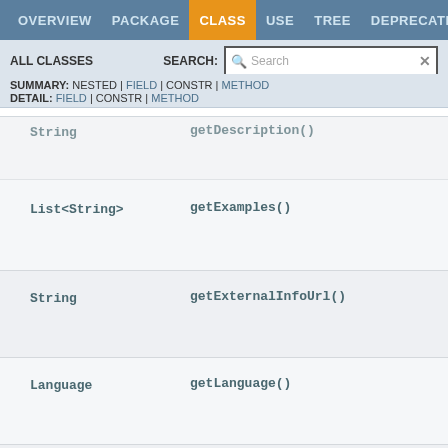OVERVIEW | PACKAGE | CLASS | USE | TREE | DEPRECATED
ALL CLASSES   SEARCH:
SUMMARY: NESTED | FIELD | CONSTR | METHOD
DETAIL: FIELD | CONSTR | METHOD
| Return Type | Method |
| --- | --- |
| String | getDescription() |
| List<String> | getExamples() |
| String | getExternalInfoUrl() |
| Language | getLanguage() |
| LanguageVersion | getMaximumLanguageVersion() |